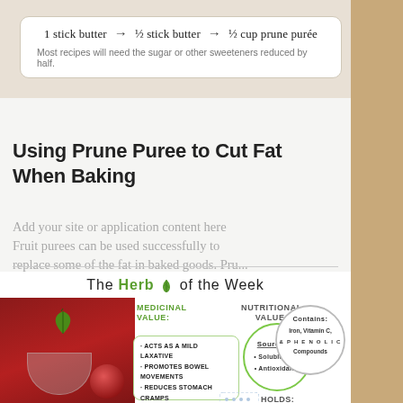[Figure (infographic): Butter substitution chart: 1 stick butter → ½ stick butter → ½ cup prune purée, with note about reducing sugar by half]
Most recipes will need the sugar or other sweeteners reduced by half.
Using Prune Puree to Cut Fat When Baking
Add your site or application content here Fruit purees can be used successfully to replace some of the fat in baked goods. Pru...
[Figure (infographic): The Herb of the Week infographic showing Medicinal Value (acts as mild laxative, promotes bowel movements, reduces stomach cramps, speeds up digestion) and Nutritional Value (Source of: Soluble fiber, Antioxidants; Contains: Iron, Vitamin C, & Phenolic Compounds; Holds:) with prune/fruit imagery]